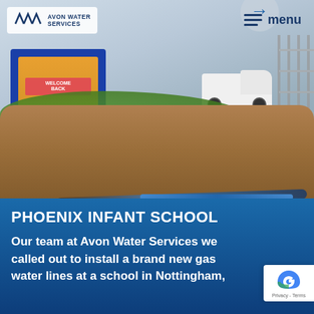[Figure (photo): Construction site at Phoenix Infant School showing a trench with blue water pipes being installed in the school car park. A white transit van is parked in the background. A school welcome sign is visible on the left with 'Welcome Back' text. Metal site fencing is on the right. The Avon Water Services logo appears in the top left corner with a menu button on the top right.]
PHOENIX INFANT SCHOOL
Our team at Avon Water Services were called out to install a brand new gas water lines at a school in Nottingham,